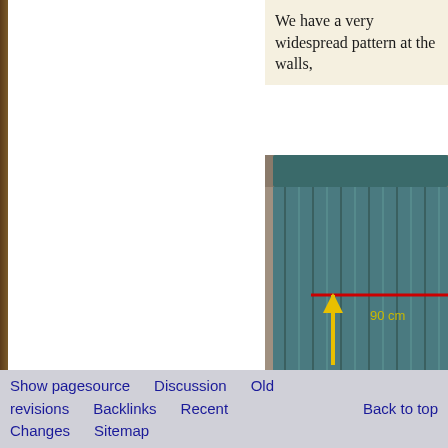We have a very widespread pattern at the walls,
[Figure (photo): Photo of blue/teal curtains hanging at a wall, with a yellow upward arrow and a horizontal red line annotating a 90 cm measurement. The curtains have vertical folds and hang from a pelmet/cornice at the top.]
Show pagesource   Discussion   Old revisions   Backlinks   Recent Changes   Sitemap   Back to top